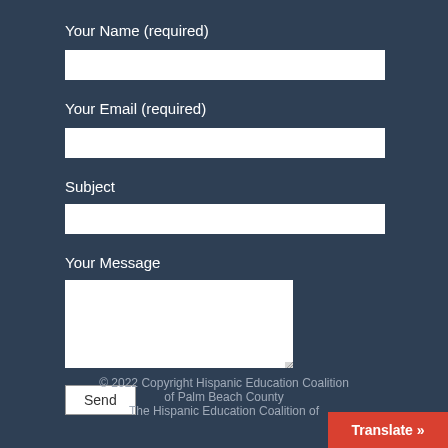Your Name (required)
Your Email (required)
Subject
Your Message
Send
© 2022 Copyright Hispanic Education Coalition of Palm Beach County
The Hispanic Education Coalition of
Translate »